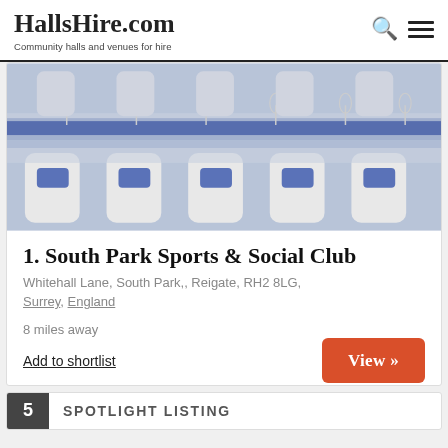HallsHire.com — Community halls and venues for hire
[Figure (photo): Photo of a banquet hall with white chair covers with blue satin sashes and tables set with wine glasses and blue table runners]
1. South Park Sports & Social Club
Whitehall Lane, South Park,, Reigate, RH2 8LG, Surrey, England
8 miles away
Add to shortlist
View »
5  SPOTLIGHT LISTING